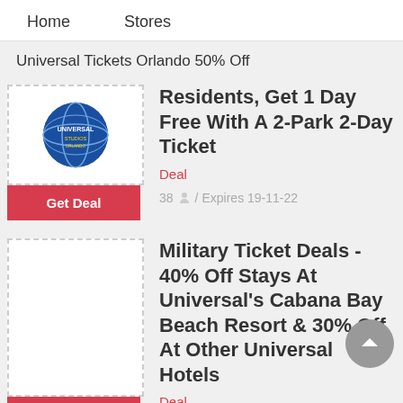Home    Stores
Universal Tickets Orlando 50% Off
Residents, Get 1 Day Free With A 2-Park 2-Day Ticket
Deal
38 / Expires 19-11-22
[Figure (logo): Universal Studios globe logo]
Get Deal
Military Ticket Deals - 40% Off Stays At Universal's Cabana Bay Beach Resort & 30% Off At Other Universal Hotels
Deal
44 / Expires 20-10-22
Get Deal